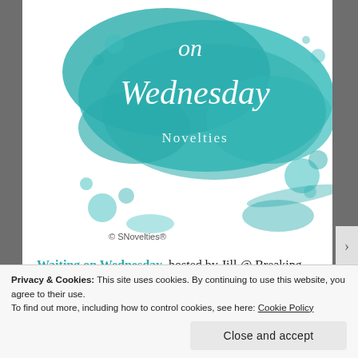[Figure (illustration): Teal watercolor splash banner with cursive white text reading 'on Wednesday' and 'Novelties', with '© SNovelties®' at bottom left]
Waiting on Wednesday, hosted by Jill @ Breaking the Spine, is a weekly meme that showcases upcoming book releases readers are eagerly awaiting.
Privacy & Cookies: This site uses cookies. By continuing to use this website, you agree to their use. To find out more, including how to control cookies, see here: Cookie Policy